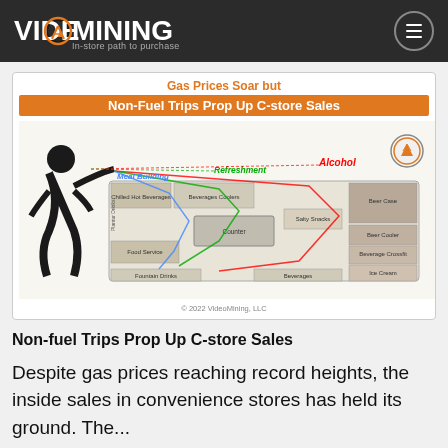VideoMining — In-store path to purchase
[Figure (infographic): Infographic showing store floor plan with customer path overlays for Alcohol (red), Refreshment (green), and Meal Building (blue) trip types. Title: Gas Prices Soar but Non-Fuel Trips Prop Up C-store Sales. Copyright 2022 VideoMining, LLC.]
Non-fuel Trips Prop Up C-store Sales
Despite gas prices reaching record heights, the inside sales in convenience stores has held its ground. The...